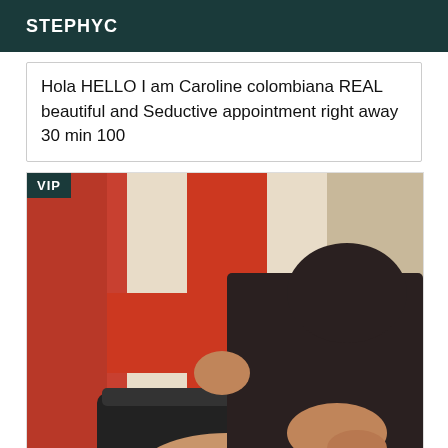STEPHYC
Hola HELLO I am Caroline colombiana REAL beautiful and Seductive appointment right away 30 min 100
[Figure (photo): A person posing in dark clothing against a background with a red and white flag/cross pattern. A VIP badge appears in the top-left corner of the image.]